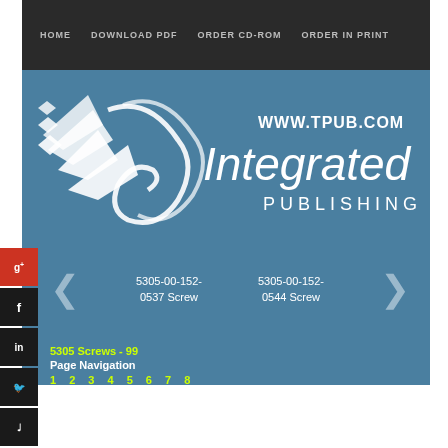HOME   DOWNLOAD PDF   ORDER CD-ROM   ORDER IN PRINT
[Figure (logo): Integrated Publishing logo with white bird/arrow graphic and text 'WWW.TPUB.COM Integrated PUBLISHING' on blue background]
5305-00-152-0537 Screw
5305-00-152-0544 Screw
5305 Screws - 99
Page Navigation
1 2 3 4 5 6 7 8